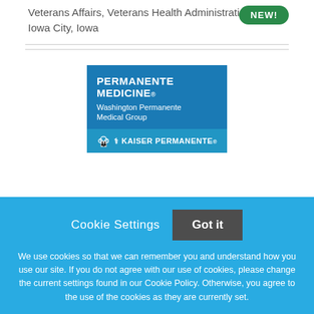Veterans Affairs, Veterans Health Administration
Iowa City, Iowa
[Figure (logo): Permanente Medicine / Washington Permanente Medical Group / Kaiser Permanente advertisement banner]
Cookie Settings   Got it
We use cookies so that we can remember you and understand how you use our site. If you do not agree with our use of cookies, please change the current settings found in our Cookie Policy. Otherwise, you agree to the use of the cookies as they are currently set.